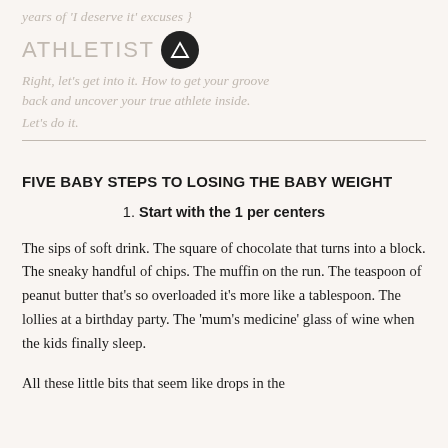years of 'I deserve it' excuses }
ATHLETIST [logo]
Right, let's get into it. How to get your groove back and uncover your true athlete inside. Let's do it.
FIVE BABY STEPS TO LOSING THE BABY WEIGHT
1. Start with the 1 per centers
The sips of soft drink. The square of chocolate that turns into a block. The sneaky handful of chips. The muffin on the run. The teaspoon of peanut butter that's so overloaded it's more like a tablespoon. The lollies at a birthday party. The ‘mum’s medicine’ glass of wine when the kids finally sleep.
All these little bits that seem like drops in the